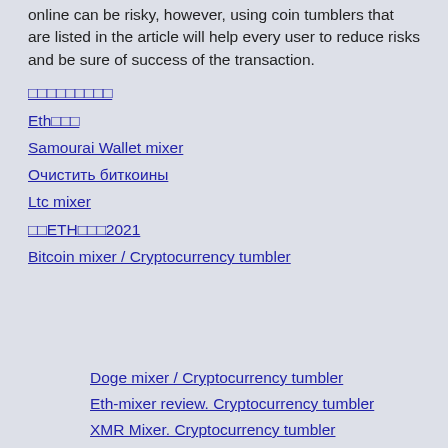online can be risky, however, using coin tumblers that are listed in the article will help every user to reduce risks and be sure of success of the transaction.
□□□□□□□□□
Eth□□□
Samourai Wallet mixer
Очистить биткоины
Ltc mixer
□□ETH□□□2021
Bitcoin mixer / Cryptocurrency tumbler
Doge mixer / Cryptocurrency tumbler
Eth-mixer review. Cryptocurrency tumbler
XMR Mixer. Cryptocurrency tumbler